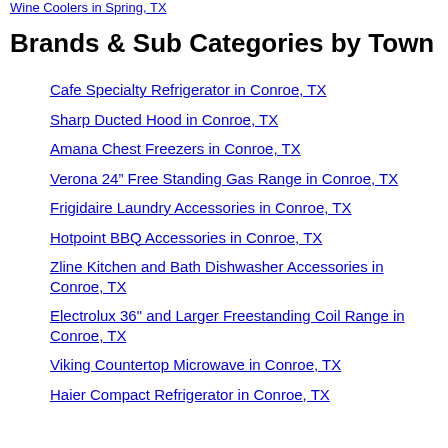Wine Coolers in Spring, TX
Brands & Sub Categories by Town
Cafe Specialty Refrigerator in Conroe, TX
Sharp Ducted Hood in Conroe, TX
Amana Chest Freezers in Conroe, TX
Verona 24" Free Standing Gas Range in Conroe, TX
Frigidaire Laundry Accessories in Conroe, TX
Hotpoint BBQ Accessories in Conroe, TX
Zline Kitchen and Bath Dishwasher Accessories in Conroe, TX
Electrolux 36" and Larger Freestanding Coil Range in Conroe, TX
Viking Countertop Microwave in Conroe, TX
Haier Compact Refrigerator in Conroe, TX